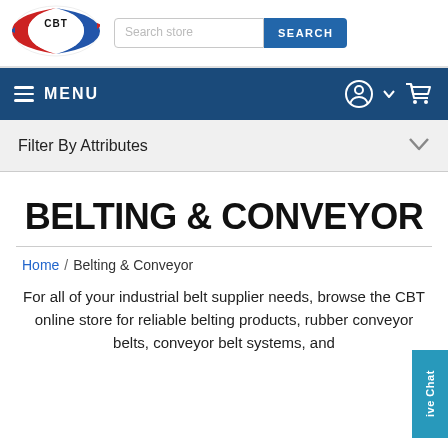[Figure (logo): CBT logo with red, white, and blue oval design]
Search store | SEARCH
MENU
Filter By Attributes
BELTING & CONVEYOR
Home / Belting & Conveyor
For all of your industrial belt supplier needs, browse the CBT online store for reliable belting products, rubber conveyor belts, conveyor belt systems, and...